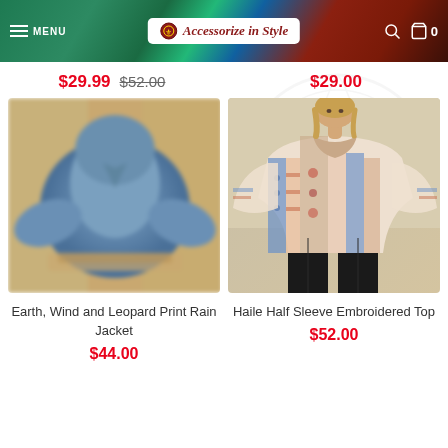MENU | Accessorize in Style | 🛒 0
$29.99 $52.00
$29.00
[Figure (photo): Blurred image of an Earth, Wind and Leopard Print Rain Jacket in blue/denim color tones on a warm background]
[Figure (photo): Woman wearing the Haile Half Sleeve Embroidered Top — a loose, flowy top with boho floral and geometric print in blues, oranges, and pinks — with black pants]
Earth, Wind and Leopard Print Rain Jacket
$44.00
Haile Half Sleeve Embroidered Top
$52.00